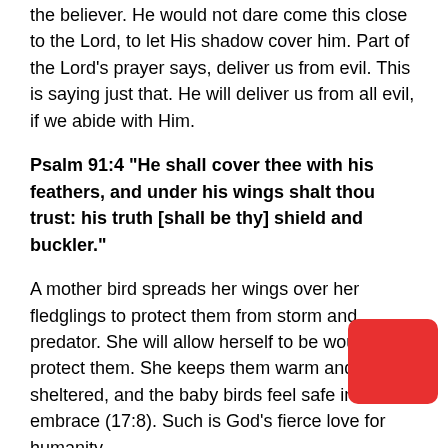the believer. He would not dare come this close to the Lord, to let His shadow cover him. Part of the Lord's prayer says, deliver us from evil. This is saying just that. He will deliver us from all evil, if we abide with Him.
Psalm 91:4 "He shall cover thee with his feathers, and under his wings shalt thou trust: his truth [shall be thy] shield and buckler."
A mother bird spreads her wings over her fledglings to protect them from storm and predator. She will allow herself to be wounded to protect them. She keeps them warm and sheltered, and the baby birds feel safe in her embrace (17:8). Such is God's fierce love for humanity.